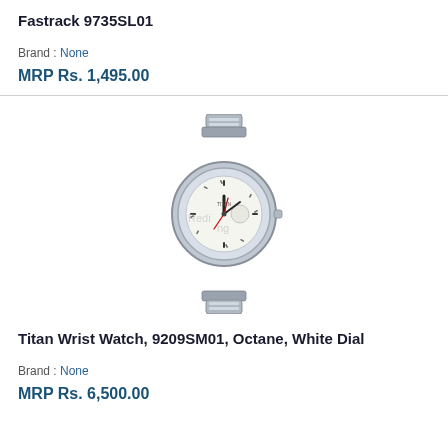Fastrack 9735SL01
Brand : None
MRP Rs. 1,495.00
[Figure (photo): Silver Titan Wrist Watch 9209SM01 Octane with white dial and stainless steel bracelet]
Titan Wrist Watch, 9209SM01, Octane, White Dial
Brand : None
MRP Rs. 6,500.00